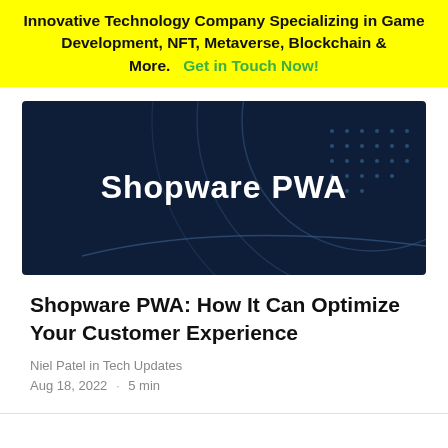Innovative Technology Company Specializing in Game Development, NFT, Metaverse, Blockchain & More.   Get in Touch Now!
[Figure (illustration): Dark navy blue banner image with abstract circular arc lines and dot grid pattern, text 'Shopware PWA' in white bold font centered]
Shopware PWA: How It Can Optimize Your Customer Experience
Niel Patel in Tech Updates
Aug 18, 2022  ·  5 min